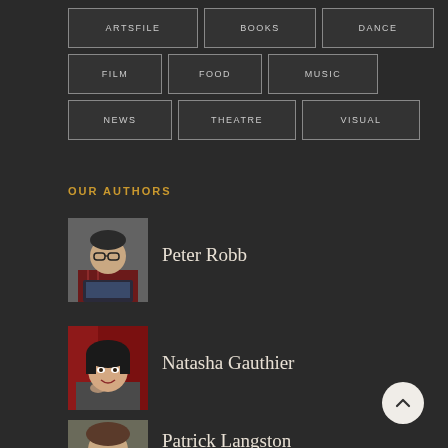ARTSFILE
BOOKS
DANCE
FILM
FOOD
MUSIC
NEWS
THEATRE
VISUAL
OUR AUTHORS
[Figure (photo): Portrait photo of Peter Robb, a person wearing glasses and a plaid shirt, holding a laptop]
Peter Robb
[Figure (photo): Portrait photo of Natasha Gauthier, a woman with dark hair posing against a red background]
Natasha Gauthier
[Figure (photo): Partial portrait photo of Patrick Langston]
Patrick Langston